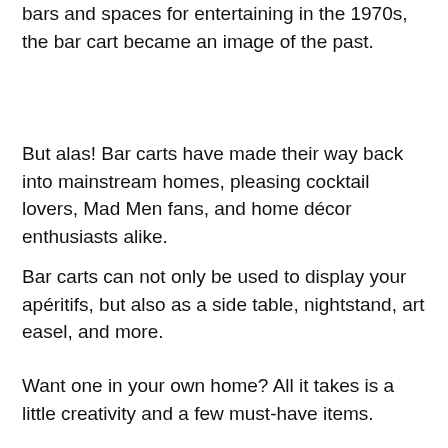bars and spaces for entertaining in the 1970s, the bar cart became an image of the past.
But alas! Bar carts have made their way back into mainstream homes, pleasing cocktail lovers, Mad Men fans, and home décor enthusiasts alike.
Bar carts can not only be used to display your apéritifs, but also as a side table, nightstand, art easel, and more.
Want one in your own home? All it takes is a little creativity and a few must-have items.